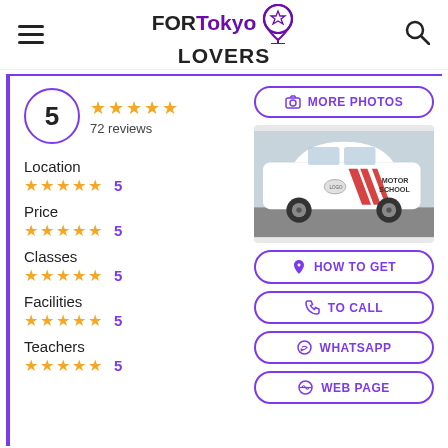[Figure (logo): FORTokyo LOVERS logo with location pin icon]
5
72 reviews
Location
5
Price
5
Classes
5
Facilities
5
Teachers
5
[Figure (photo): White car with red diagonal stripes and MOTOR SCHOOL text on the door]
MORE PHOTOS
HOW TO GET
TO CALL
WHATSAPP
WEB PAGE